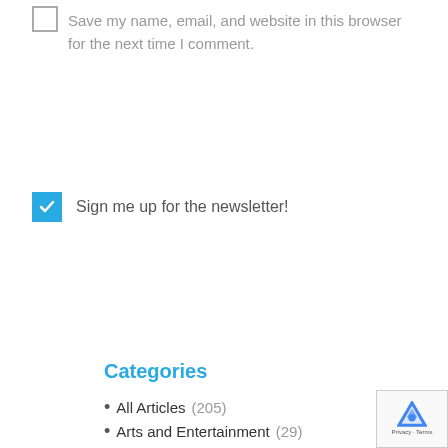Save my name, email, and website in this browser for the next time I comment.
Sign me up for the newsletter!
POST COMMENT
Categories
All Articles (205)
Arts and Entertainment (29)
Beaches (9)
Biking & Walking (2)
Cape Cod Cuisine (3)